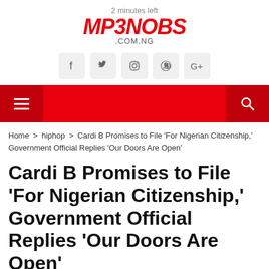2 minutes left
MP3NOBS.COM.NG
[Figure (logo): MP3NOBS.COM.NG website logo in red italic bold text with .COM.NG subtitle]
[Figure (infographic): Social media icons: Facebook, Twitter, Instagram, Pinterest, Google+]
[Figure (infographic): Red navigation bar with hamburger menu icon on left and search icon on right]
Home > hiphop > Cardi B Promises to File 'For Nigerian Citizenship,' Government Official Replies 'Our Doors Are Open'
Cardi B Promises to File 'For Nigerian Citizenship,' Government Official Replies 'Our Doors Are Open'